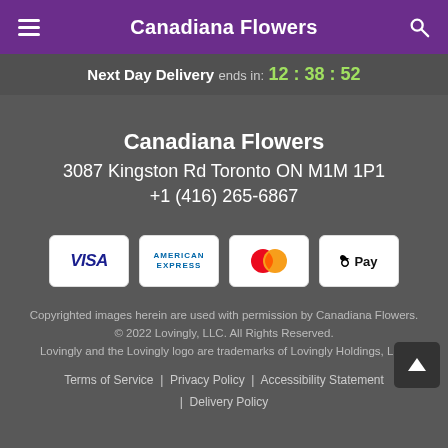Canadiana Flowers
Next Day Delivery ends in: 12 : 38 : 52
Canadiana Flowers
3087 Kingston Rd Toronto ON M1M 1P1
+1 (416) 265-6867
[Figure (logo): Payment method icons: VISA, American Express, Mastercard, Apple Pay]
Copyrighted images herein are used with permission by Canadiana Flowers.
© 2022 Lovingly, LLC. All Rights Reserved.
Lovingly and the Lovingly logo are trademarks of Lovingly Holdings, LLC
Terms of Service | Privacy Policy | Accessibility Statement | Delivery Policy